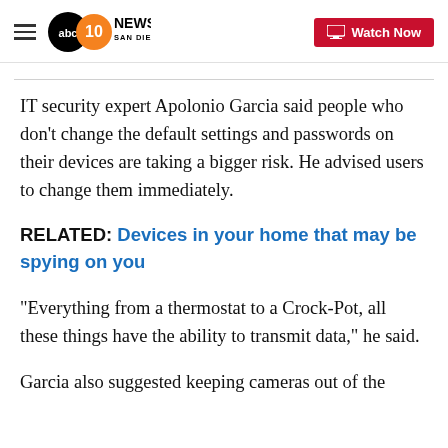ABC 10News San Diego | Watch Now
IT security expert Apolonio Garcia said people who don't change the default settings and passwords on their devices are taking a bigger risk. He advised users to change them immediately.
RELATED: Devices in your home that may be spying on you
"Everything from a thermostat to a Crock-Pot, all these things have the ability to transmit data," he said.
Garcia also suggested keeping cameras out of the